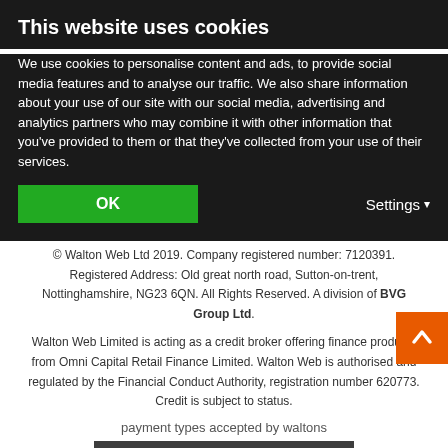This website uses cookies
We use cookies to personalise content and ads, to provide social media features and to analyse our traffic. We also share information about your use of our site with our social media, advertising and analytics partners who may combine it with other information that you’ve provided to them or that they’ve collected from your use of their services.
delivery not available on all buildings.
© Walton Web Ltd 2019. Company registered number: 7120391. Registered Address: Old great north road, Sutton-on-trent, Nottinghamshire, NG23 6QN. All Rights Reserved. A division of BVG Group Ltd.
Walton Web Limited is acting as a credit broker offering finance products from Omni Capital Retail Finance Limited. Walton Web is authorised and regulated by the Financial Conduct Authority, registration number 620773. Credit is subject to status.
[Figure (other): payment types accepted by waltons image placeholder]
[Figure (logo): Feefo Reviews badge on dark background]